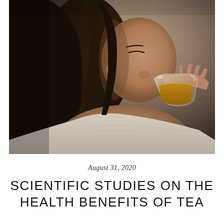[Figure (photo): A woman in profile drinking tea from a clear glass cup, photographed in a warm, dimly lit setting. She has dark hair pulled back and is wearing a light beige ribbed top. The tea appears amber/golden in the glass.]
August 31, 2020
SCIENTIFIC STUDIES ON THE HEALTH BENEFITS OF TEA